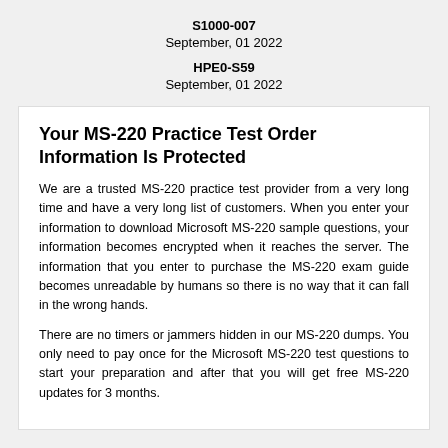S1000-007
September, 01 2022
HPE0-S59
September, 01 2022
Your MS-220 Practice Test Order Information Is Protected
We are a trusted MS-220 practice test provider from a very long time and have a very long list of customers. When you enter your information to download Microsoft MS-220 sample questions, your information becomes encrypted when it reaches the server. The information that you enter to purchase the MS-220 exam guide becomes unreadable by humans so there is no way that it can fall in the wrong hands.
There are no timers or jammers hidden in our MS-220 dumps. You only need to pay once for the Microsoft MS-220 test questions to start your preparation and after that you will get free MS-220 updates for 3 months.